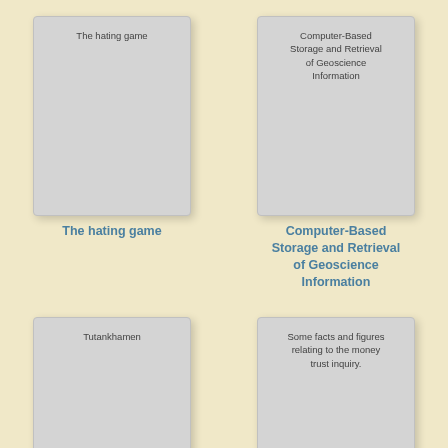[Figure (illustration): Book card placeholder for 'The hating game' with gray background and border]
[Figure (illustration): Book card placeholder for 'Computer-Based Storage and Retrieval of Geoscience Information' with gray background and border]
The hating game
Computer-Based Storage and Retrieval of Geoscience Information
[Figure (illustration): Book card placeholder for 'Tutankhamen' with gray background and border]
[Figure (illustration): Book card placeholder for 'Some facts and figures relating to the money trust inquiry.' with gray background and border]